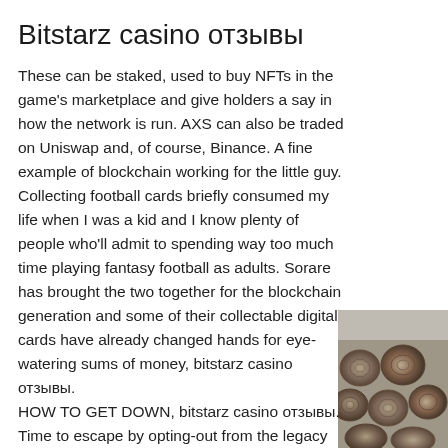Bitstarz casino отзывы
These can be staked, used to buy NFTs in the game's marketplace and give holders a say in how the network is run. AXS can also be traded on Uniswap and, of course, Binance. A fine example of blockchain working for the little guy. Collecting football cards briefly consumed my life when I was a kid and I know plenty of people who'll admit to spending way too much time playing fantasy football as adults. Sorare has brought the two together for the blockchain generation and some of their collectable digital cards have already changed hands for eye-watering sums of money, bitstarz casino отзывы.
HOW TO GET DOWN, bitstarz casino отзывы.
Time to escape by opting-out from the legacy system. T he situation we are experiencing is
[Figure (photo): Stack of cut logs/timber viewed from the end, black and white photo on the right side of the page]